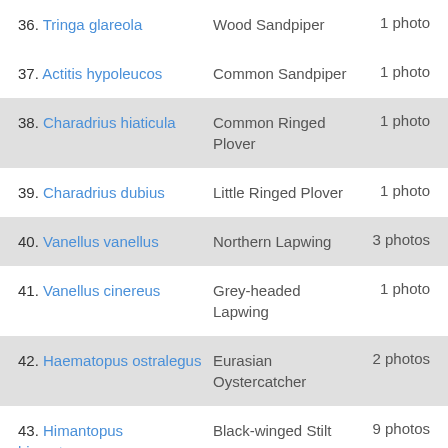36. Tringa glareola — Wood Sandpiper — 1 photo
37. Actitis hypoleucos — Common Sandpiper — 1 photo
38. Charadrius hiaticula — Common Ringed Plover — 1 photo
39. Charadrius dubius — Little Ringed Plover — 1 photo
40. Vanellus vanellus — Northern Lapwing — 3 photos
41. Vanellus cinereus — Grey-headed Lapwing — 1 photo
42. Haematopus ostralegus — Eurasian Oystercatcher — 2 photos
43. Himantopus himantopus — Black-winged Stilt — 9 photos
44. Recurvirostra — Pied Avocet — 1 photo